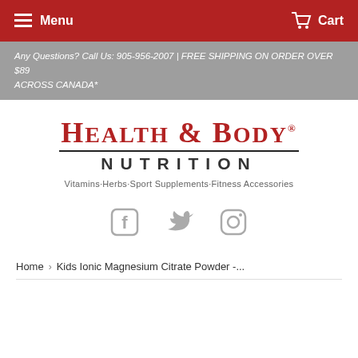Menu  Cart
Any Questions? Call Us: 905-956-2007 | FREE SHIPPING ON ORDER OVER $89 ACROSS CANADA*
[Figure (logo): Health & Body Nutrition logo with tagline: Vitamins·Herbs·Sport Supplements·Fitness Accessories]
[Figure (infographic): Social media icons: Facebook, Twitter, Instagram in gray]
Home › Kids Ionic Magnesium Citrate Powder -...